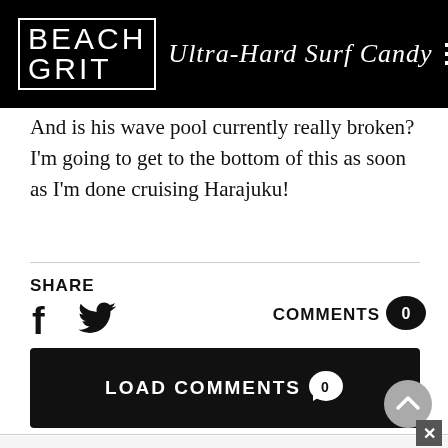BEACH GRIT Ultra-Hard Surf Candy
And is his wave pool currently really broken? I'm going to get to the bottom of this as soon as I'm done cruising Harajuku!
SHARE
COMMENTS 0
LOAD COMMENTS 0